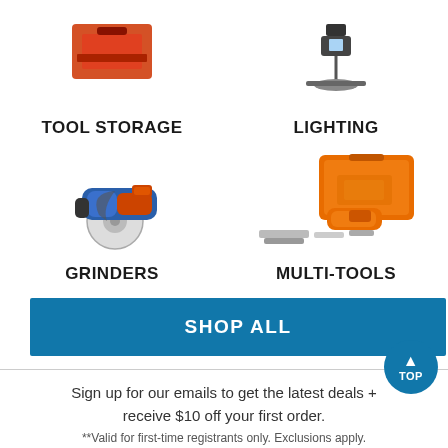[Figure (photo): Tool storage product image (partially cropped at top)]
TOOL STORAGE
[Figure (photo): Lighting product image (partially cropped at top)]
LIGHTING
[Figure (photo): Grinder (angle grinder, blue and orange)]
GRINDERS
[Figure (photo): Multi-tools kit with orange case and accessories]
MULTI-TOOLS
SHOP ALL
Sign up for our emails to get the latest deals + receive $10 off your first order.
**Valid for first-time registrants only. Exclusions apply.